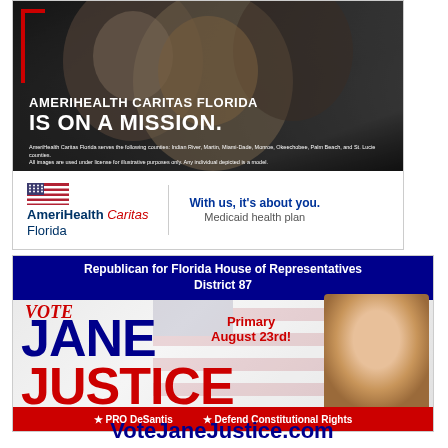[Figure (illustration): AmeriHealth Caritas Florida advertisement. Top portion shows a photo of two smiling women with the text 'AMERIHEALTH CARITAS FLORIDA IS ON A MISSION.' Bottom portion has AmeriHealth Caritas Florida logo and tagline 'With us, it's about you. Medicaid health plan.']
[Figure (illustration): Political campaign advertisement for Jane Justice, Republican for Florida House of Representatives District 87. Primary August 23rd. PRO DeSantis. Defend Constitutional Rights. VoteJaneJustice.com]